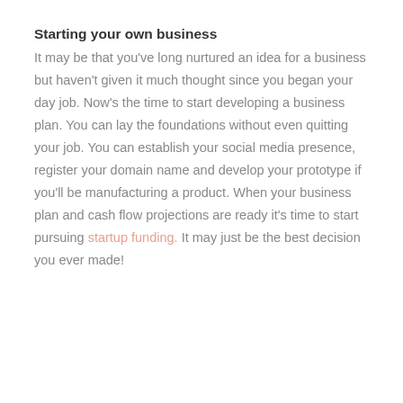Starting your own business
It may be that you've long nurtured an idea for a business but haven't given it much thought since you began your day job. Now's the time to start developing a business plan. You can lay the foundations without even quitting your job. You can establish your social media presence, register your domain name and develop your prototype if you'll be manufacturing a product. When your business plan and cash flow projections are ready it's time to start pursuing startup funding. It may just be the best decision you ever made!